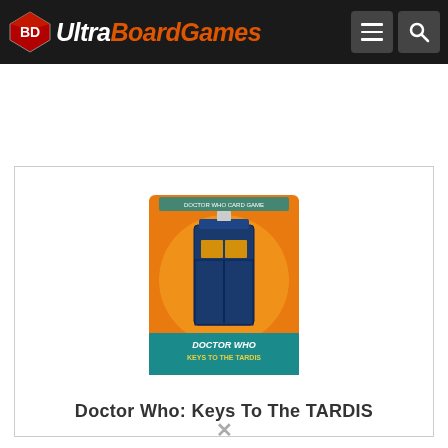UltraBoardGames
[Figure (photo): Doctor Who: Keys To The TARDIS board game box with orange and teal design featuring TARDIS image]
Doctor Who: Keys To The TARDIS